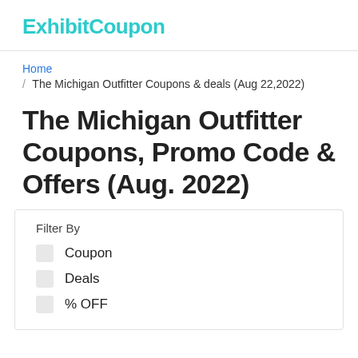ExhibitCoupon
Home / The Michigan Outfitter Coupons & deals (Aug 22,2022)
The Michigan Outfitter Coupons, Promo Code & Offers (Aug. 2022)
Filter By
Coupon
Deals
% OFF